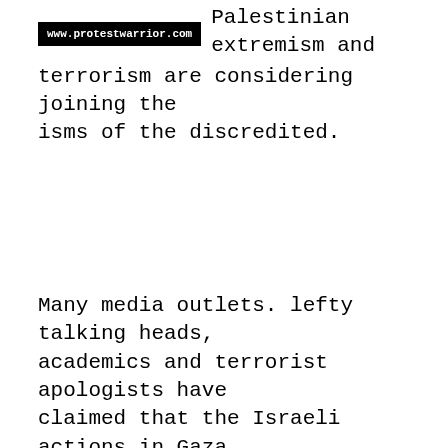[Figure (logo): Black badge/logo with white text reading www.protestwarrior.com]
Palestinian extremism and terrorism are considering joining the isms of the discredited.
Many media outlets. lefty talking heads, academics and terrorist apologists have claimed that the Israeli actions in Gaza were war crimes, a new holocaust and many other ridiculous accusations. But most all of these same folks said that, even worse,